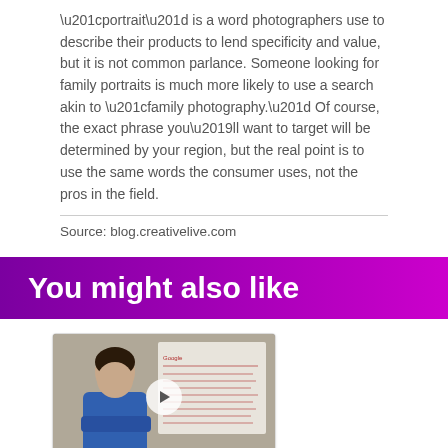“portrait” is a word photographers use to describe their products to lend specificity and value, but it is not common parlance. Someone looking for family portraits is much more likely to use a search akin to “family photography.” Of course, the exact phrase you’ll want to target will be determined by your region, but the real point is to use the same words the consumer uses, not the pros in the field.
Source: blog.creativelive.com
You might also like
[Figure (screenshot): Video thumbnail showing a woman in a blue top speaking in front of a whiteboard with handwritten notes. A circular play button is overlaid in the center.]
SEO for Photographers- Tips for Boudoir Photographers part 2